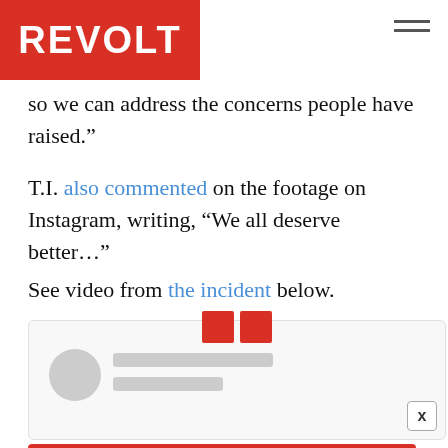REVOLT
so we can address the concerns people have raised.”
T.I. also commented on the footage on Instagram, writing, “We all deserve better…”
See video from the incident below.
[Figure (screenshot): Embedded social media post placeholder with avatar, text lines, and two red squares at top]
[Figure (infographic): State Farm advertisement: Celebrate the strength of Black communities.]